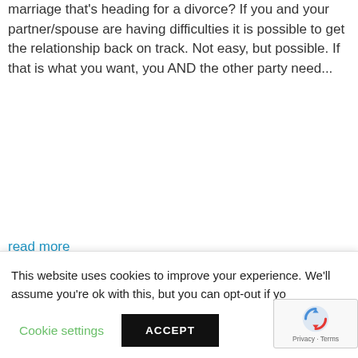marriage that's heading for a divorce? If you and your partner/spouse are having difficulties it is possible to get the relationship back on track. Not easy, but possible. If that is what you want, you AND the other party need...
read more
More Free Information
[Figure (illustration): Quotation mark icon inside a circle]
You are the first attorney who tells me what is really going on ... answers my questions.
This website uses cookies to improve your experience. We'll assume you're ok with this, but you can opt-out if yo
Cookie settings
ACCEPT